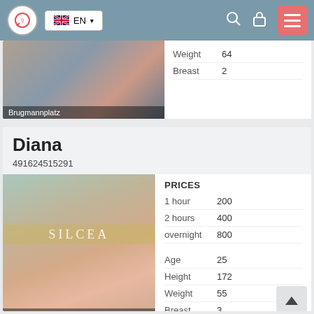EN (navigation bar with logo, language selector, search, lock, menu icons)
|  |  |
| --- | --- |
| Weight | 64 |
| Breast | 2 |
Brugmannplatz
Diana
491624515291
PRICES
|  |  |
| --- | --- |
| 1 hour | 200 |
| 2 hours | 400 |
| overnight | 800 |
| Age | 25 |
| Height | 172 |
| Weight | 55 |
| Breast | 3 |
Dorstfeld Betriebshof